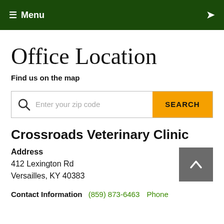≡ Menu
Office Location
Find us on the map
[Figure (screenshot): Search bar with magnifying glass icon, placeholder text 'Enter your zip code', and an orange SEARCH button]
Crossroads Veterinary Clinic
Address
412 Lexington Rd
Versailles, KY 40383
Contact Information (859) 873-6463 Phone